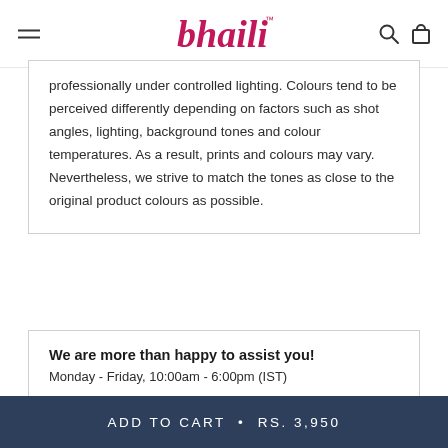bhaili™
professionally under controlled lighting. Colours tend to be perceived differently depending on factors such as shot angles, lighting, background tones and colour temperatures. As a result, prints and colours may vary. Nevertheless, we strive to match the tones as close to the original product colours as possible.
We are more than happy to assist you!
Monday - Friday, 10:00am - 6:00pm (IST)
ADD TO CART  •  RS. 3,950